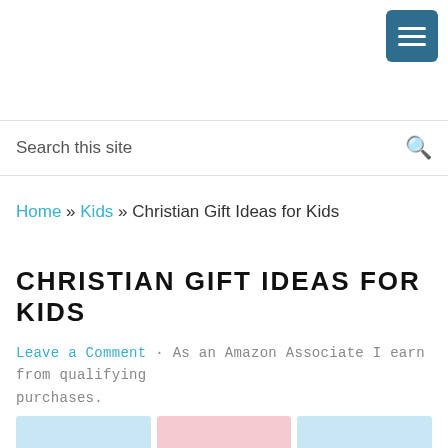[Figure (infographic): Blue hamburger menu button in top right corner with three white horizontal lines]
Search this site
Home » Kids » Christian Gift Ideas for Kids
CHRISTIAN GIFT IDEAS FOR KIDS
Leave a Comment · As an Amazon Associate I earn from qualifying purchases.
[Figure (photo): Three partially visible image thumbnails at bottom: two blue and one pink]